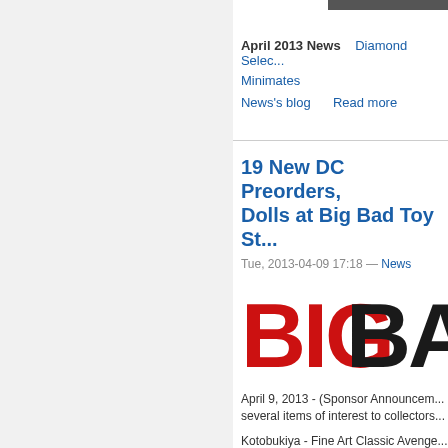April 2013 News   Diamond Select   Minimates
News's blog   Read more
19 New DC Preorders, Dolls at Big Bad Toy St...
Tue, 2013-04-09 17:18 — News
[Figure (logo): Big Bad Toy Store logo with BIG in red and BAD in black bold text]
April 9, 2013 - (Sponsor Announcement) several items of interest to collectors
Kotobukiya - Fine Art Classic Avenge
http://www.bigbadtoystore.com/bbts/